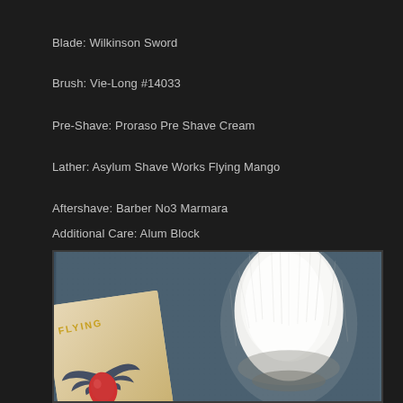Blade: Wilkinson Sword
Brush: Vie-Long #14033
Pre-Shave: Proraso Pre Shave Cream
Lather: Asylum Shave Works Flying Mango
Aftershave: Barber No3 Marmara
Additional Care: Alum Block
[Figure (photo): Photo of Asylum Shave Works Flying Mango soap with a shaving brush (Vie-Long) leaning against the soap container. The soap label shows 'FLYING' text and a winged mango logo on a tan/kraft paper background. The brush has white bristles.]